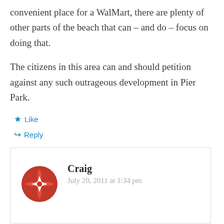convenient place for a WalMart, there are plenty of other parts of the beach that can – and do – focus on doing that.
The citizens in this area can and should petition against any such outrageous development in Pier Park.
★ Like
↳ Reply
Craig
July 20, 2011 at 1:34 pm